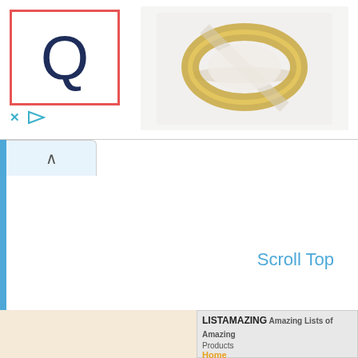[Figure (logo): Q logo in dark navy color inside a red/coral square border, advertisement logo area]
[Figure (photo): Gold wedding ring / band lying on a light background, advertisement product image]
x
[Figure (screenshot): Web content area with blue left border, upward chevron tab, and Scroll Top link on the right]
Scroll Top
LISTAMAZING Amazing Lists of Amazing Products
Home